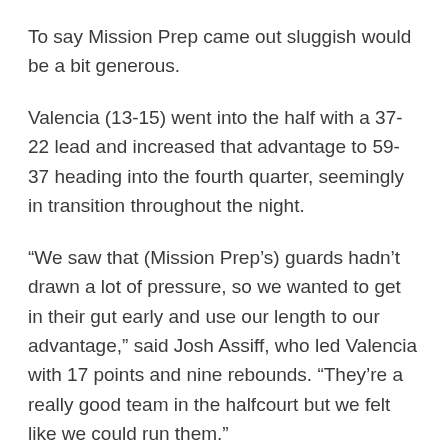To say Mission Prep came out sluggish would be a bit generous.
Valencia (13-15) went into the half with a 37-22 lead and increased that advantage to 59-37 heading into the fourth quarter, seemingly in transition throughout the night.
“We saw that (Mission Prep’s) guards hadn’t drawn a lot of pressure, so we wanted to get in their gut early and use our length to our advantage,” said Josh Assiff, who led Valencia with 17 points and nine rebounds. “They’re a really good team in the halfcourt but we felt like we could run them.”